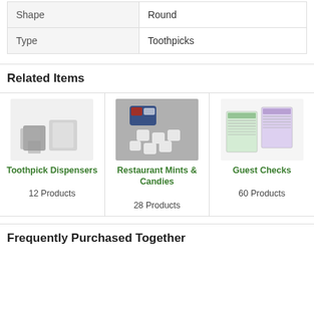| Shape | Round |
| Type | Toothpicks |
Related Items
[Figure (photo): Toothpick Dispensers product image showing plastic dispensers]
[Figure (photo): Restaurant Mints & Candies product image showing mints and candy bags]
[Figure (photo): Guest Checks product image showing guest check booklets]
Toothpick Dispensers
12 Products
Restaurant Mints & Candies
28 Products
Guest Checks
60 Products
Frequently Purchased Together